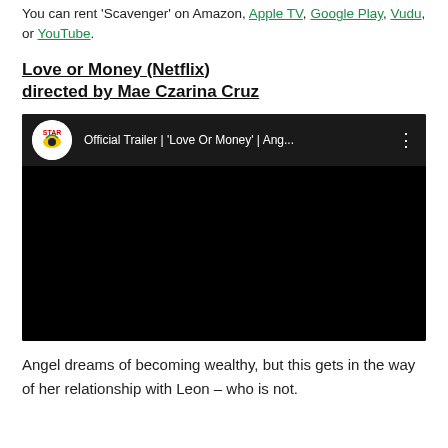You can rent 'Scavenger' on Amazon, Apple TV, Google Play, Vudu, or YouTube.
Love or Money (Netflix) directed by Mae Czarina Cruz
[Figure (screenshot): Embedded YouTube video thumbnail showing official trailer for 'Love Or Money' with Star Cinema channel logo and black video frame]
Angel dreams of becoming wealthy, but this gets in the way of her relationship with Leon – who is not.